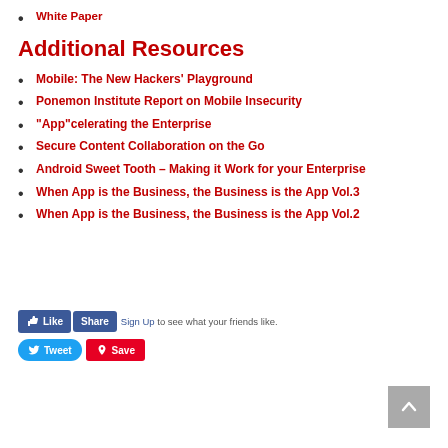White Paper
Additional Resources
Mobile: The New Hackers’ Playground
Ponemon Institute Report on Mobile Insecurity
“App”celerating the Enterprise
Secure Content Collaboration on the Go
Android Sweet Tooth – Making it Work for your Enterprise
When App is the Business, the Business is the App Vol.3
When App is the Business, the Business is the App Vol.2
[Figure (screenshot): Social sharing buttons: Like, Share (Facebook), Sign Up prompt, Tweet (Twitter), Save (Pinterest), and a scroll-to-top button]